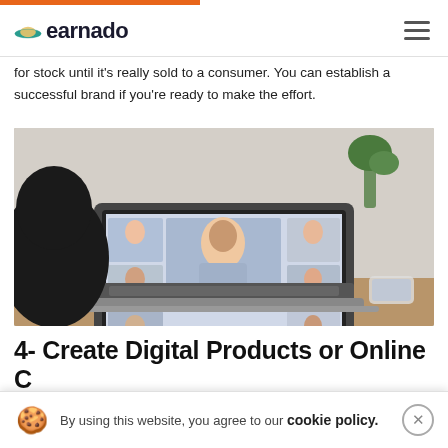earnado
for stock until it's really sold to a consumer. You can establish a successful brand if you're ready to make the effort.
[Figure (photo): Person sitting in front of a laptop showing a video conference call with multiple participants in a grid layout, laptop on a wooden desk.]
4- Create Digital Products or Online Courses and Online Courses
globally. Digital products such as software, publications, and webcourses are divided by...
By using this website, you agree to our cookie policy.